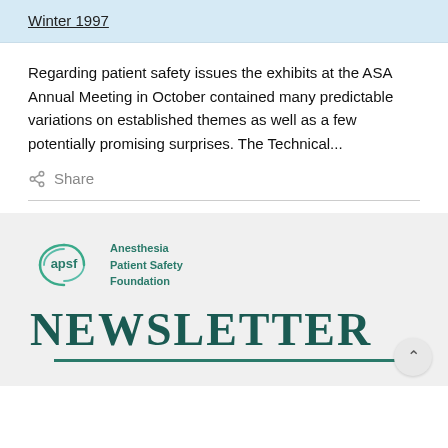Winter 1997
Regarding patient safety issues the exhibits at the ASA Annual Meeting in October contained many predictable variations on established themes as well as a few potentially promising surprises. The Technical...
Share
[Figure (logo): APSF (Anesthesia Patient Safety Foundation) Newsletter logo. Shows the apsf circular swoosh logo mark next to the text 'Anesthesia Patient Safety Foundation' and the word 'NEWSLETTER' in large teal serif letters with a green underline.]